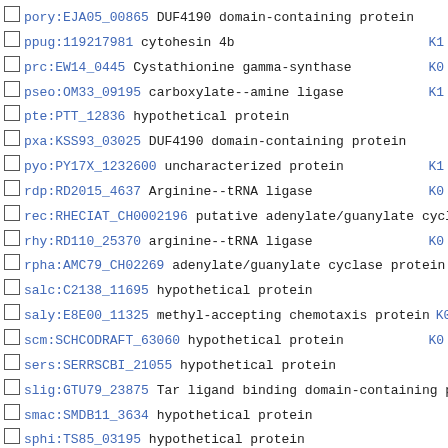pory:EJA05_00865 DUF4190 domain-containing protein
ppug:119217981 cytohesin 4b K1...
prc:EW14_0445 Cystathionine gamma-synthase K0...
pseo:OM33_09195 carboxylate--amine ligase K1...
pte:PTT_12836 hypothetical protein
pxa:KSS93_03025 DUF4190 domain-containing protein
pyo:PY17X_1232600 uncharacterized protein K1...
rdp:RD2015_4637 Arginine--tRNA ligase K0...
rec:RHECIAT_CH0002196 putative adenylate/guanylate cycl K0...
rhy:RD110_25370 arginine--tRNA ligase K0...
rpha:AMC79_CH02269 adenylate/guanylate cyclase protein K0...
salc:C2138_11695 hypothetical protein
saly:E8E00_11325 methyl-accepting chemotaxis protein K0...
scm:SCHCODRAFT_63060 hypothetical protein K0...
sers:SERRSCBI_21055 hypothetical protein
slig:GTU79_23875 Tar ligand binding domain-containing p K0...
smac:SMDB11_3634 hypothetical protein
sphi:TS85_03195 hypothetical protein
stan:STA3757_37300 acetolactate synthase K0...
sze:AW14_14570 hypothetical protein
tbe:Trebr_1146 protein of unknown function DUF342 K0...
thei:K1720_05615 sugar phosphate isomerase/epimerase